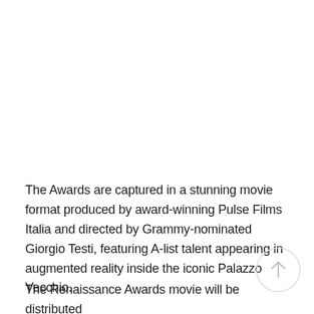The Awards are captured in a stunning movie format produced by award-winning Pulse Films Italia and directed by Grammy-nominated Giorgio Testi, featuring A-list talent appearing in augmented reality inside the iconic Palazzo Vecchio.
The Renaissance Awards movie will be distributed by CNN and CNN to attract an advantage included...